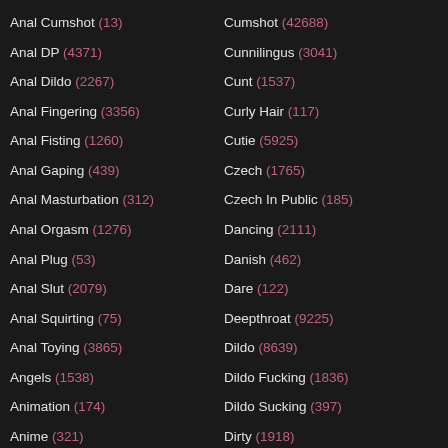Anal Cumshot (13)
Anal DP (4371)
Anal Dildo (2267)
Anal Fingering (3356)
Anal Fisting (1260)
Anal Gaping (439)
Anal Masturbation (312)
Anal Orgasm (1276)
Anal Plug (53)
Anal Slut (2079)
Anal Squirting (75)
Anal Toying (3865)
Angels (1538)
Animation (174)
Anime (321)
Anonymous (50)
Cumshot (42688)
Cunnilingus (3041)
Cunt (1537)
Curly Hair (117)
Cutie (5925)
Czech (1765)
Czech In Public (185)
Dancing (2111)
Danish (462)
Dare (122)
Deepthroat (9225)
Dildo (8639)
Dildo Fucking (1836)
Dildo Sucking (397)
Dirty (1918)
Dirty Talk (1187)